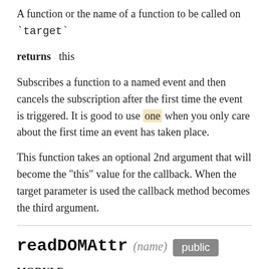A function or the name of a function to be called on `target`
returns   this
Subscribes a function to a named event and then cancels the subscription after the first time the event is triggered. It is good to use one when you only care about the first time an event has taken place.
This function takes an optional 2nd argument that will become the "this" value for the callback. When the target parameter is used the callback method becomes the third argument.
readDOMAttr (name) public
MODULE:
@ember/component